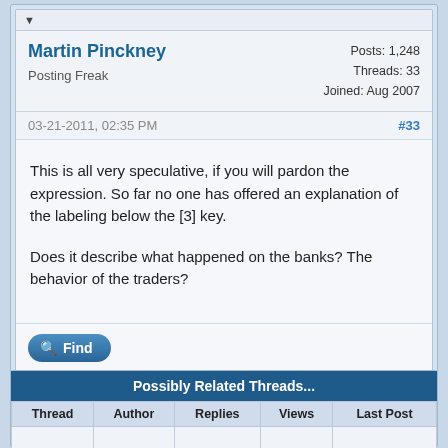Martin Pinckney
Posting Freak
Posts: 1,248
Threads: 33
Joined: Aug 2007
03-21-2011, 02:35 PM
#33
This is all very speculative, if you will pardon the expression. So far no one has offered an explanation of the labeling below the [3] key.
Does it describe what happened on the banks? The behavior of the traders?
Find
| Thread | Author | Replies | Views | Last Post |
| --- | --- | --- | --- | --- |
|  |  |  |  |  |